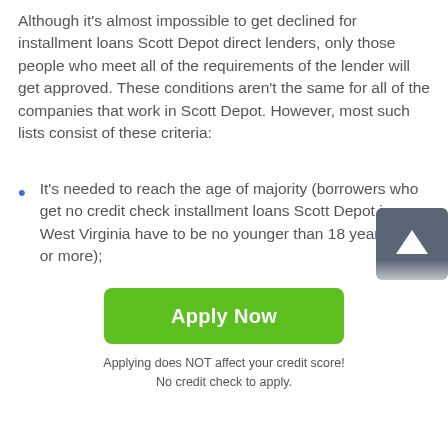Although it's almost impossible to get declined for installment loans Scott Depot direct lenders, only those people who meet all of the requirements of the lender will get approved. These conditions aren't the same for all of the companies that work in Scott Depot. However, most such lists consist of these criteria:
It's needed to reach the age of majority (borrowers who get no credit check installment loans Scott Depot in West Virginia have to be no younger than 18 years old or more);
It's allowed to lend money only to people who have active bank accounts (these accounts don't have to be new ones, to be approved, it's recommended to use
[Figure (other): Dark grey scroll-to-top button with white upward arrow icon, positioned in bottom-right area of content]
Apply Now
Applying does NOT affect your credit score!
No credit check to apply.